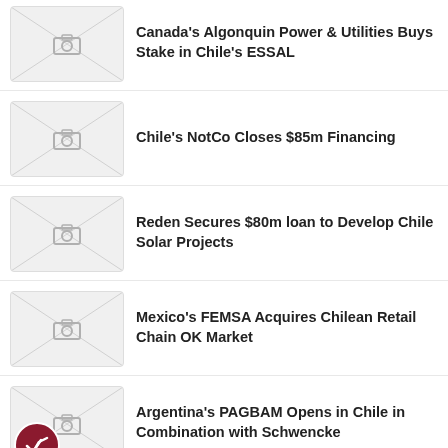Canada's Algonquin Power & Utilities Buys Stake in Chile's ESSAL
Chile's NotCo Closes $85m Financing
Reden Secures $80m loan to Develop Chile Solar Projects
Mexico's FEMSA Acquires Chilean Retail Chain OK Market
Argentina's PAGBAM Opens in Chile in Combination with Schwencke